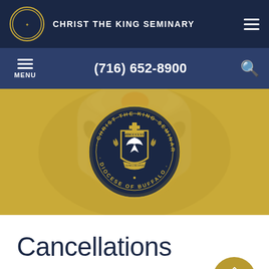CHRIST THE KING SEMINARY
(716) 652-8900
[Figure (logo): Christ the King Seminary seal — Diocese of Buffalo circular emblem with cross, shield, eagle, olive branches, on dark navy background with gold text around the ring]
Cancellations